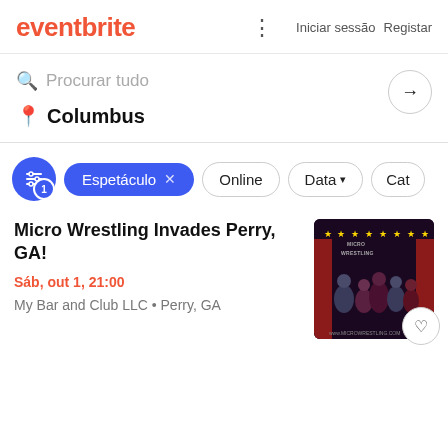eventbrite   Iniciar sessão   Registar
Procurar tudo
Columbus
Espetáculo x   Online   Data   Cat
Micro Wrestling Invades Perry, GA!
Sáb, out 1, 21:00
My Bar and Club LLC • Perry, GA
[Figure (photo): Micro Wrestling event promotional photo with group of wrestlers on stage with red curtain backdrop and 'Micro Wrestling' banner with stars]